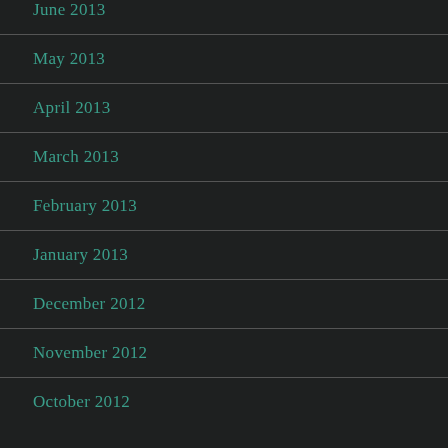June 2013
May 2013
April 2013
March 2013
February 2013
January 2013
December 2012
November 2012
October 2012